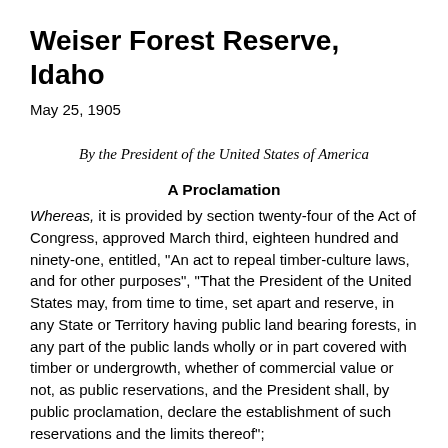Weiser Forest Reserve, Idaho
May 25, 1905
By the President of the United States of America
A Proclamation
Whereas, it is provided by section twenty-four of the Act of Congress, approved March third, eighteen hundred and ninety-one, entitled, "An act to repeal timber-culture laws, and for other purposes", "That the President of the United States may, from time to time, set apart and reserve, in any State or Territory having public land bearing forests, in any part of the public lands wholly or in part covered with timber or undergrowth, whether of commercial value or not, as public reservations, and the President shall, by public proclamation, declare the establishment of such reservations and the limits thereof";